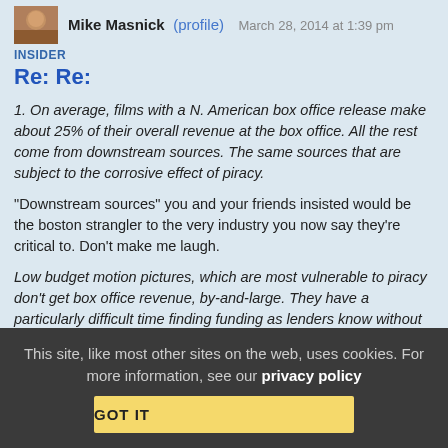Mike Masnick (profile)  March 28, 2014 at 1:39 pm
INSIDER
Re: Re:
1. On average, films with a N. American box office release make about 25% of their overall revenue at the box office. All the rest come from downstream sources. The same sources that are subject to the corrosive effect of piracy.
“Downstream sources” you and your friends insisted would be the boston strangler to the very industry you now say they’re critical to. Don't make me laugh.
Low budget motion pictures, which are most vulnerable to piracy don’t get box office revenue, by-and-large. They have a particularly difficult time finding funding as lenders know without that box office revenue, it is a much greater risk to fund a motion picture.
This site, like most other sites on the web, uses cookies. For more information, see our privacy policy
GOT IT